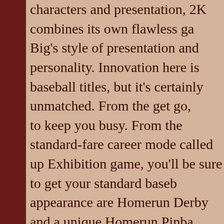characters and presentation, 2K combines its own flawless gameplay with Big's style of presentation and personality. Innovation here is not new to baseball titles, but it's certainly unmatched. From the get go, there's plenty to keep you busy. From the standard-fare career mode called Rookie Challenge up Exhibition game, you'll be sure to get your standard baseball fix. Also making appearance are Homerun Derby and a unique Homerun Pinball game, along with an online multiplayer mode.
The mode you will spend most of your time in is Rookie Challenge. It's simple and quick: you can use a standard premade model, but if you'd like you can adjust your player's build; skin tone; hair color; etc. After you pick your team and tweak your uniform, it's off to the Bigs. Before you go, you'll want to spend your stat points wisely, because it's difficult to earn more stat points later. You need to make some great defensive stops in the field and hits at bat. In the preseason, if your rookie doesn't play well, he doesn't get any extra stat points to help him improve before the season starts, during a 5-inning game and the training. Once his training is complete, you must improve him during and between games, or you will lose stat points at the end of each game. Additionally,